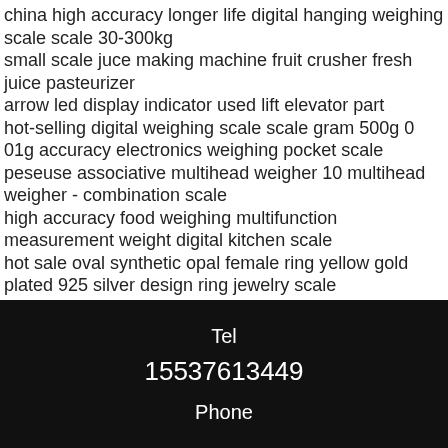china high accuracy longer life digital hanging weighing scale scale 30-300kg
small scale juce making machine fruit crusher fresh juice pasteurizer
arrow led display indicator used lift elevator part
hot-selling digital weighing scale scale gram 500g 0 01g accuracy electronics weighing pocket scale
peseuse associative multihead weigher 10 multihead weigher - combination scale
high accuracy food weighing multifunction measurement weight digital kitchen scale
hot sale oval synthetic opal female ring yellow gold plated 925 silver design ring jewelry scale
Tel
15537613449
Phone